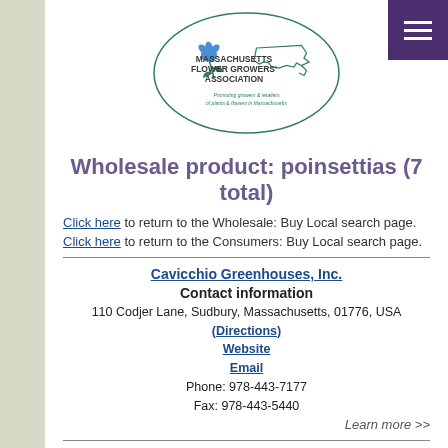[Figure (logo): Massachusetts Flower Growers' Association logo — oval with flower and state outline, tagline: Promoting growers & retailers of plants & flowers in Massachusetts]
Wholesale product: poinsettias (7 total)
Click here to return to the Wholesale: Buy Local search page.
Click here to return to the Consumers: Buy Local search page.
Cavicchio Greenhouses, Inc.
Contact information
110 Codjer Lane, Sudbury, Massachusetts, 01776, USA (Directions)
Website
Email
Phone: 978-443-7177
Fax: 978-443-5440
Learn more >>
Cupp & Sons, LLC
Contact information
260 Second Street, Chelsea, Massachusetts, 02150, USA (Directions)